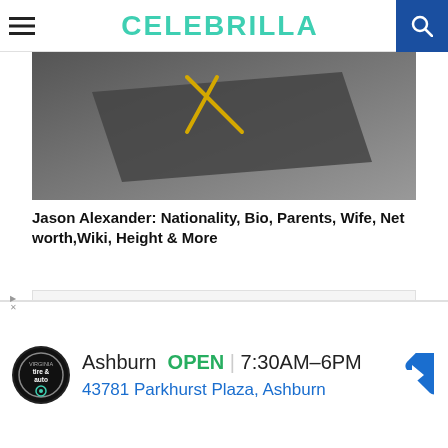CELEBRILLA
[Figure (photo): Partial view of a dark gray surface with yellow diagonal lines or objects, resembling an abstract or desk scene.]
Jason Alexander: Nationality, Bio, Parents, Wife, Net worth,Wiki, Height & More
[Figure (screenshot): White/light gray ad placeholder box]
[Figure (infographic): Bottom banner ad showing Tire & Auto shop logo, text: Ashburn OPEN 7:30AM–6PM, 43781 Parkhurst Plaza, Ashburn, with a navigation arrow icon on the right.]